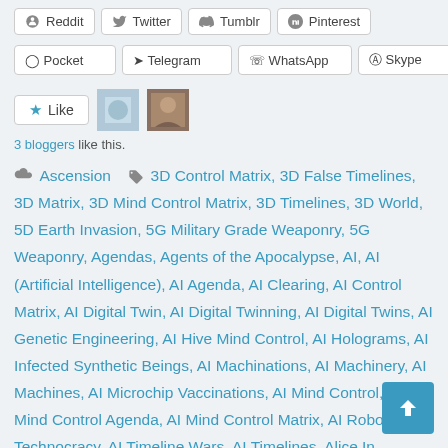Reddit, Twitter, Tumblr, Pinterest (social share buttons)
Pocket, Telegram, WhatsApp, Skype (social share buttons)
Like button with 2 avatar images
3 bloggers like this.
Category: Ascension. Tags: 3D Control Matrix, 3D False Timelines, 3D Matrix, 3D Mind Control Matrix, 3D Timelines, 3D World, 5D Earth Invasion, 5G Military Grade Weaponry, 5G Weaponry, Agendas, Agents of the Apocalypse, AI, AI (Artificial Intelligence), AI Agenda, AI Clearing, AI Control Matrix, AI Digital Twin, AI Digital Twinning, AI Digital Twins, AI Genetic Engineering, AI Hive Mind Control, AI Holograms, AI Infected Synthetic Beings, AI Machinations, AI Machinery, AI Machines, AI Microchip Vaccinations, AI Mind Control, AI Mind Control Agenda, AI Mind Control Matrix, AI Robots, AI Technocracy, AI Timeline Wars, AI Timelines, Alice In Wonderland Mind Control Programming, Alice In Wonderland Mind Control Tactics, Alice In Wonderland Occult Programming, Alice In Wonderland Occultism, Alice In